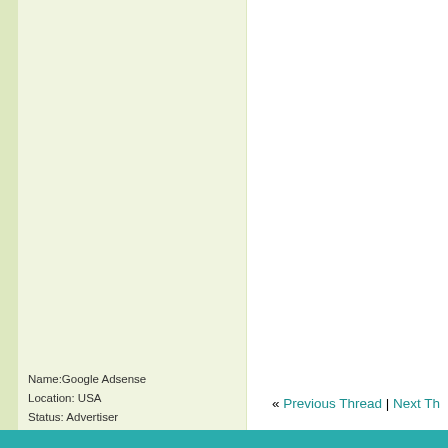Name:Google Adsense
Location: USA
Status: Advertiser
Mood:
This advertising will not be shown to reg Register your free account today and be
« Previous Thread | Next Th
Similar Threads